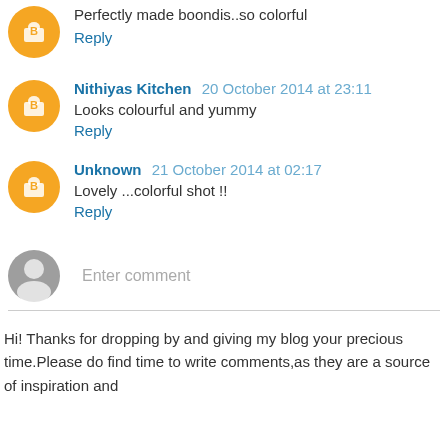Perfectly made boondis..so colorful
Reply
Nithiyas Kitchen 20 October 2014 at 23:11
Looks colourful and yummy
Reply
Unknown 21 October 2014 at 02:17
Lovely ...colorful shot !!
Reply
Enter comment
Hi! Thanks for dropping by and giving my blog your precious time.Please do find time to write comments,as they are a source of inspiration and